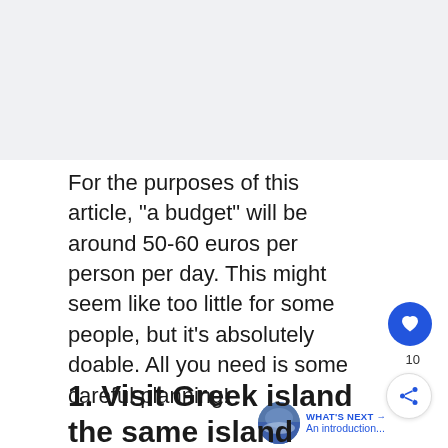[Figure (other): Gray placeholder area at the top of the page (image cropped or not loaded)]
For the purposes of this article, "a budget" will be around 50-60 euros per person per day. This might seem like too little for some people, but it's absolutely doable. All you need is some careful planning!
1. Visit Greek islands in the same island group